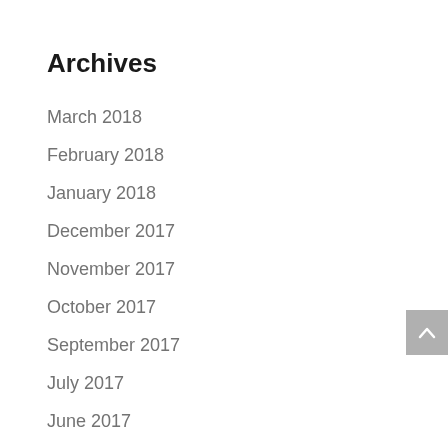Archives
March 2018
February 2018
January 2018
December 2017
November 2017
October 2017
September 2017
July 2017
June 2017
May 2017
January 2017
December 2016
November 2016